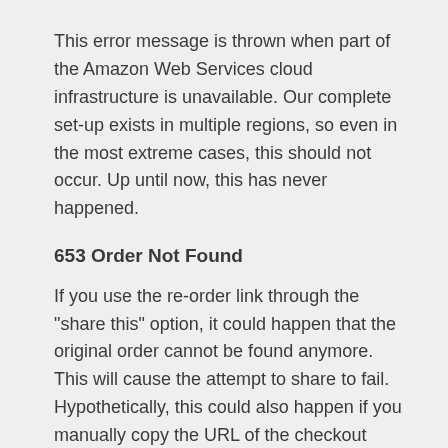This error message is thrown when part of the Amazon Web Services cloud infrastructure is unavailable. Our complete set-up exists in multiple regions, so even in the most extreme cases, this should not occur. Up until now, this has never happened.
653 Order Not Found
If you use the re-order link through the "share this" option, it could happen that the original order cannot be found anymore. This will cause the attempt to share to fail. Hypothetically, this could also happen if you manually copy the URL of the checkout procedure and try to reload a previous order that is no longer valid.
670 Payment Failure
If the payment procedure failed, the payment provider will let us know and we will return this code.